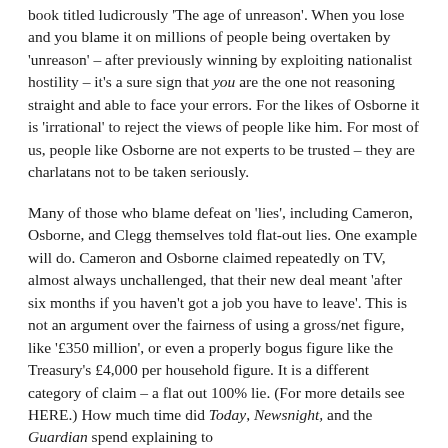book titled ludicrously 'The age of unreason'. When you lose and you blame it on millions of people being overtaken by 'unreason' – after previously winning by exploiting nationalist hostility – it's a sure sign that you are the one not reasoning straight and able to face your errors. For the likes of Osborne it is 'irrational' to reject the views of people like him. For most of us, people like Osborne are not experts to be trusted – they are charlatans not to be taken seriously.
Many of those who blame defeat on 'lies', including Cameron, Osborne, and Clegg themselves told flat-out lies. One example will do. Cameron and Osborne claimed repeatedly on TV, almost always unchallenged, that their new deal meant 'after six months if you haven't got a job you have to leave'. This is not an argument over the fairness of using a gross/net figure, like '£350 million', or even a properly bogus figure like the Treasury's £4,000 per household figure. It is a different category of claim – a flat out 100% lie. (For more details see HERE.) How much time did Today, Newsnight, and the Guardian spend explaining to